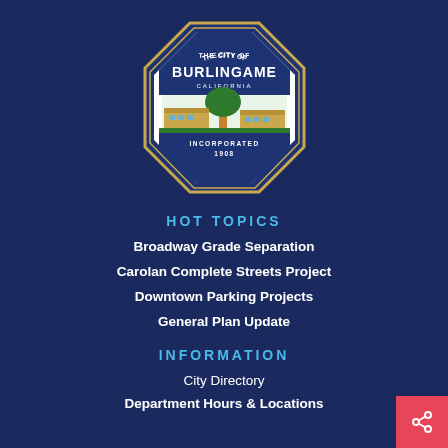[Figure (logo): City of Burlingame California seal — octagonal blue border with tree and buildings, text 'THE CITY OF BURLINGAME CALIFORNIA INCORPORATED 1908']
HOT TOPICS
Broadway Grade Separation
Carolan Complete Streets Project
Downtown Parking Projects
General Plan Update
INFORMATION
City Directory
Department Hours & Locations